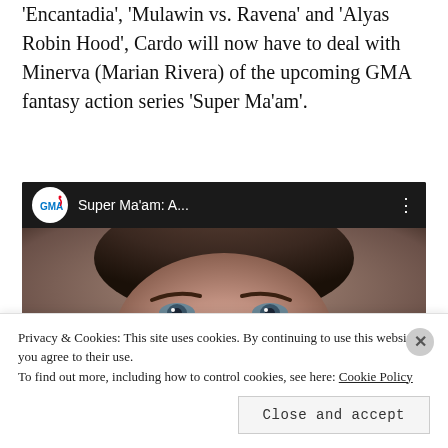'Encantadia', 'Mulawin vs. Ravena' and 'Alyas Robin Hood', Cardo will now have to deal with Minerva (Marian Rivera) of the upcoming GMA fantasy action series 'Super Ma'am'.
[Figure (screenshot): YouTube-style video player showing GMA channel logo and title 'Super Ma'am: A...' with a close-up face image of a woman]
Privacy & Cookies: This site uses cookies. By continuing to use this website, you agree to their use.
To find out more, including how to control cookies, see here: Cookie Policy